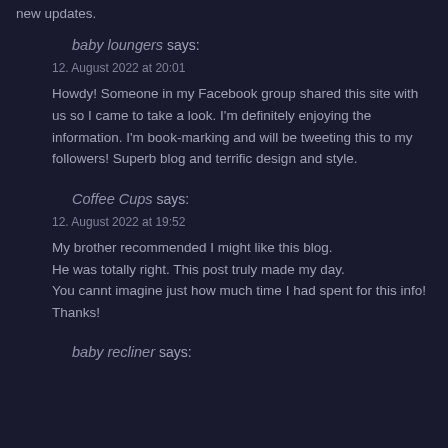new updates.
baby loungers says:
12. August 2022 at 20:01
Howdy! Someone in my Facebook group shared this site with us so I came to take a look. I'm definitely enjoying the information. I'm book-marking and will be tweeting this to my followers! Superb blog and terrific design and style.
Coffee Cups says:
12. August 2022 at 19:52
My brother recommended I might like this blog. He was totally right. This post truly made my day. You cannt imagine just how much time I had spent for this info! Thanks!
baby recliner says: